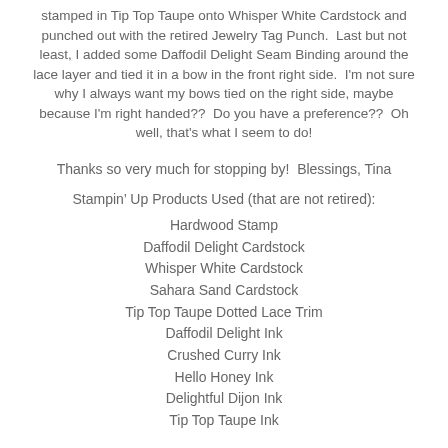stamped in Tip Top Taupe onto Whisper White Cardstock and punched out with the retired Jewelry Tag Punch. Last but not least, I added some Daffodil Delight Seam Binding around the lace layer and tied it in a bow in the front right side. I'm not sure why I always want my bows tied on the right side, maybe because I'm right handed?? Do you have a preference?? Oh well, that's what I seem to do!
Thanks so very much for stopping by! Blessings, Tina
Stampin’ Up Products Used (that are not retired):
Hardwood Stamp
Daffodil Delight Cardstock
Whisper White Cardstock
Sahara Sand Cardstock
Tip Top Taupe Dotted Lace Trim
Daffodil Delight Ink
Crushed Curry Ink
Hello Honey Ink
Delightful Dijon Ink
Tip Top Taupe Ink